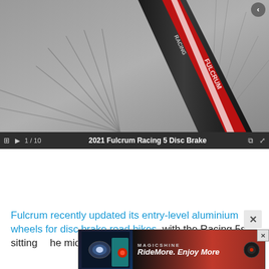[Figure (photo): Close-up photo of a Fulcrum Racing 5 Disc Brake bicycle wheel/fork, showing red and white branding on dark carbon/aluminum fork. Background shows wheel spokes.]
1 / 10   2021 Fulcrum Racing 5 Disc Brake
Fulcrum recently updated its entry-level aluminium wheels for disc brake road bikes, with the Racing 5s sitting the midd... versa...
[Figure (photo): Advertisement banner for Magicshine with bicycle lights shown. Text reads: Magicshine RideMore. Enjoy More]